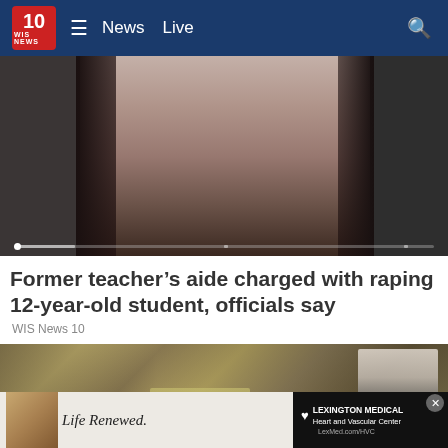10 WIS NEWS  ≡  News  Live
[Figure (photo): Close-up photo of a young woman's face with dark hair, shown in grayscale/muted tones with dark panels on either side and a video progress bar at the bottom]
Former teacher's aide charged with raping 12-year-old student, officials say
WIS News 10
[Figure (photo): Photo showing stacks of money/cash with hands reaching toward them, and a man with glasses visible on the right side]
[Figure (photo): Advertisement banner showing a person with a basketball on the left and Lexington Medical Heart and Vascular Center ad on the right with text 'Life Renewed.' and 'LexMed.com/HVC']